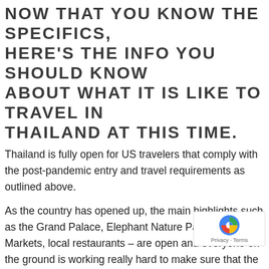NOW THAT YOU KNOW THE SPECIFICS, HERE'S THE INFO YOU SHOULD KNOW ABOUT WHAT IT IS LIKE TO TRAVEL IN THAILAND AT THIS TIME.
Thailand is fully open for US travelers that comply with the post-pandemic entry and travel requirements as outlined above.
As the country has opened up, the main highlights such as the Grand Palace, Elephant Nature Park, Night Markets, local restaurants – are open and everyone on the ground is working really hard to make sure that the experience of the visit is as good as ever.
...